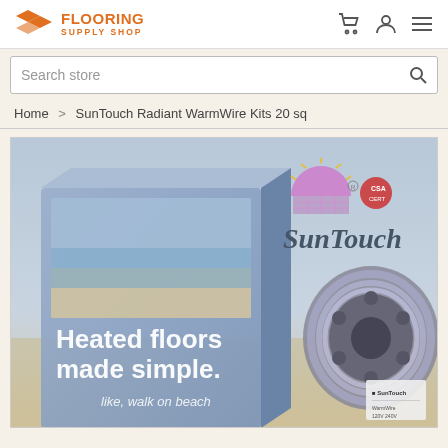Flooring Supply Shop
Search store
Home > SunTouch Radiant WarmWire Kits 20 sq
[Figure (photo): SunTouch WarmWire Kits product box and wire spool. Box shows the SunTouch brand logo with a sunset graphic, and the text 'Heated floors made simple.' and 'like, walk on beach'. A large wire spool is shown to the right. The product is labeled SunTouch WarmWire Kit.]